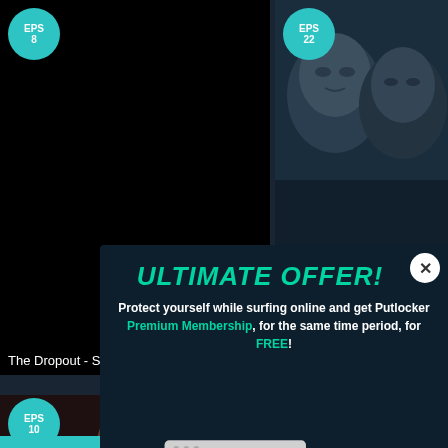[Figure (screenshot): Streaming website UI screenshot showing TV show thumbnails with episode badges, and a popup advertisement overlay]
EPS 8
EPS 22
The Dropout - S
EPS 10
ULTIMATE OFFER!
Protect yourself while surfing online and get Putlocker Premium Membership, for the same time period, for FREE!